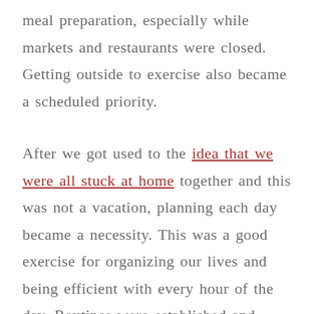meal preparation, especially while markets and restaurants were closed. Getting outside to exercise also became a scheduled priority.
After we got used to the idea that we were all stuck at home together and this was not a vacation, planning each day became a necessity. This was a good exercise for organizing our lives and being efficient with every hour of the day. Routines were established and rules were put into place to make the best use of our time. I think this is a trend that will continue and will